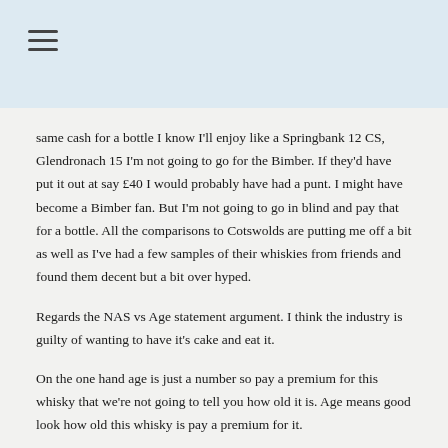same cash for a bottle I know I'll enjoy like a Springbank 12 CS, Glendronach 15 I'm not going to go for the Bimber. If they'd have put it out at say £40 I would probably have had a punt. I might have become a Bimber fan. But I'm not going to go in blind and pay that for a bottle. All the comparisons to Cotswolds are putting me off a bit as well as I've had a few samples of their whiskies from friends and found them decent but a bit over hyped.
Regards the NAS vs Age statement argument. I think the industry is guilty of wanting to have it's cake and eat it.
On the one hand age is just a number so pay a premium for this whisky that we're not going to tell you how old it is. Age means good look how old this whisky is pay a premium for it.
It's doing my nut and leads to customers not...